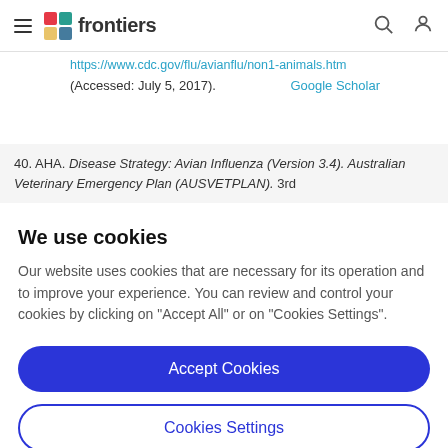frontiers
https://www.cdc.gov/flu/avianflu/non1-animals.htm (Accessed: July 5, 2017).
Google Scholar
40. AHA. Disease Strategy: Avian Influenza (Version 3.4). Australian Veterinary Emergency Plan (AUSVETPLAN). 3rd
We use cookies
Our website uses cookies that are necessary for its operation and to improve your experience. You can review and control your cookies by clicking on "Accept All" or on "Cookies Settings".
Accept Cookies
Cookies Settings